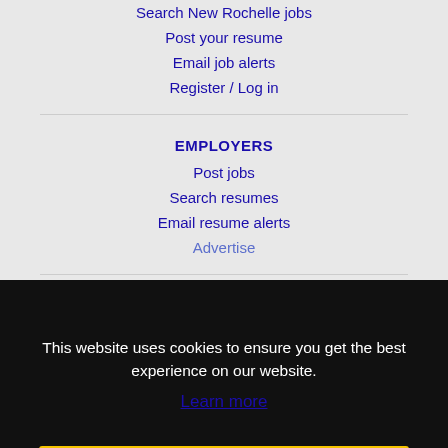Search New Rochelle jobs
Post your resume
Email job alerts
Register / Log in
EMPLOYERS
Post jobs
Search resumes
Email resume alerts
Advertise
IMMIGRATION SPECIALISTS
Post jobs
Immigration FAQs
Learn more
This website uses cookies to ensure you get the best experience on our website.
Learn more
Got it!